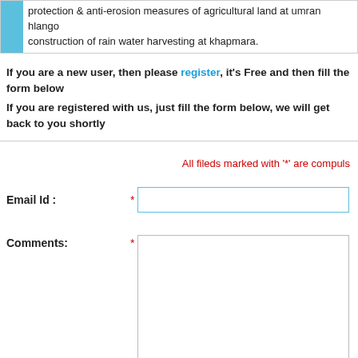protection & anti-erosion measures of agricultural land at umran hlango construction of rain water harvesting at khapmara.
If you are a new user, then please register, it's Free and then fill the form below
If you are registered with us, just fill the form below, we will get back to you shortly
All fileds marked with '*' are compulsory
Email Id :
Comments: